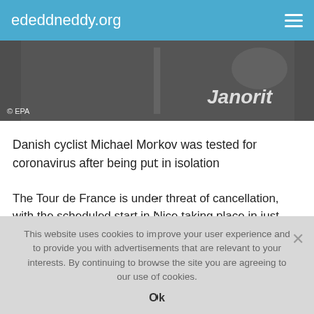ededdneddy.org
[Figure (photo): Partial view of a cyclist wearing cycling jersey with partial brand logo visible. © EPA watermark on image.]
Danish cyclist Michael Morkov was tested for coronavirus after being put in isolation
The Tour de France is under threat of cancellation, with the scheduled start in Nice taking place in just over three months, on June 27. With British and French governments anticipating that the pandemic will last until the summer, race organizers are studying alternative scheduling.
This website uses cookies to improve your user experience and to provide you with advertisements that are relevant to your interests. By continuing to browse the site you are agreeing to our use of cookies.
Ok